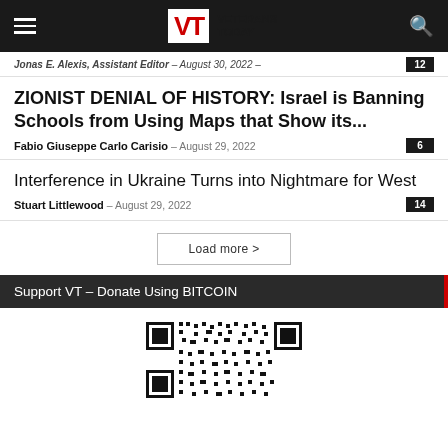Veterans Today
Jonas E. Alexis, Assistant Editor – August 30, 2022 – 12
ZIONIST DENIAL OF HISTORY: Israel is Banning Schools from Using Maps that Show its...
Fabio Giuseppe Carlo Carisio – August 29, 2022 – 6
Interference in Ukraine Turns into Nightmare for West
Stuart Littlewood – August 29, 2022 – 14
Load more >
Support VT – Donate Using BITCOIN
[Figure (other): QR code for Bitcoin donation to Veterans Today]